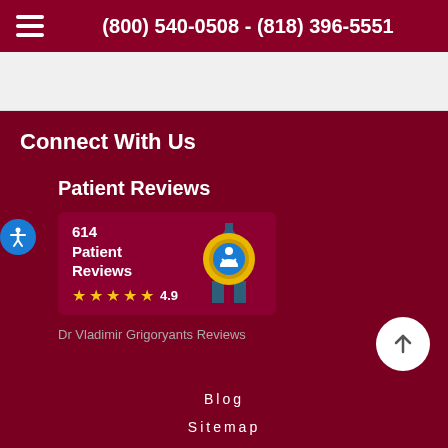(800) 540-0508 - (818) 396-5551
Connect With Us
Patient Reviews
[Figure (infographic): Patient reviews badge showing 614 Patient Reviews with 4.9 star rating and a golden badge icon]
Dr Vladimir Grigoryants Reviews
Blog
Sitemap